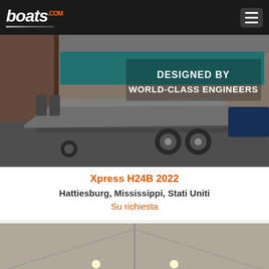boats.com
[Figure (photo): A gray flat-bottom bass boat on a trailer parked in front of a dealership. Overlay text reads 'DESIGNED BY WORLD-CLASS ENGINEERS']
Xpress H24B 2022
Hattiesburg, Mississippi, Stati Uniti
Su richiesta
[Figure (photo): Interior/exterior of a covered boat storage or dealership building with 'Smith Motor Company' signage visible at bottom]